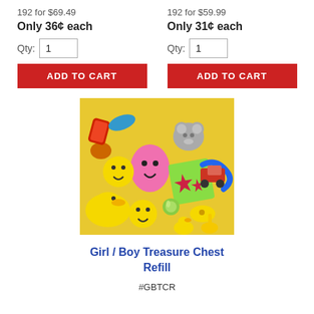192 for $69.49
Only 36¢ each
Qty: 1
ADD TO CART
192 for $59.99
Only 31¢ each
Qty: 1
ADD TO CART
[Figure (photo): Photo of a pile of colorful toy novelties including rubber ducks, smiley face items, plastic toys in yellow, pink, green, blue and red colors]
Girl / Boy Treasure Chest Refill
#GBTCR